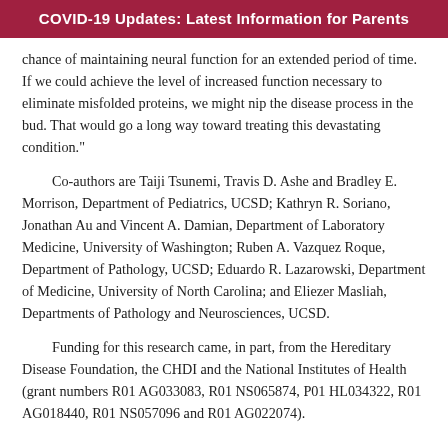COVID-19 Updates: Latest Information for Parents
chance of maintaining neural function for an extended period of time. If we could achieve the level of increased function necessary to eliminate misfolded proteins, we might nip the disease process in the bud. That would go a long way toward treating this devastating condition."
Co-authors are Taiji Tsunemi, Travis D. Ashe and Bradley E. Morrison, Department of Pediatrics, UCSD; Kathryn R. Soriano, Jonathan Au and Vincent A. Damian, Department of Laboratory Medicine, University of Washington; Ruben A. Vazquez Roque, Department of Pathology, UCSD; Eduardo R. Lazarowski, Department of Medicine, University of North Carolina; and Eliezer Masliah, Departments of Pathology and Neurosciences, UCSD.
Funding for this research came, in part, from the Hereditary Disease Foundation, the CHDI and the National Institutes of Health (grant numbers R01 AG033083, R01 NS065874, P01 HL034322, R01 AG018440, R01 NS057096 and R01 AG022074).